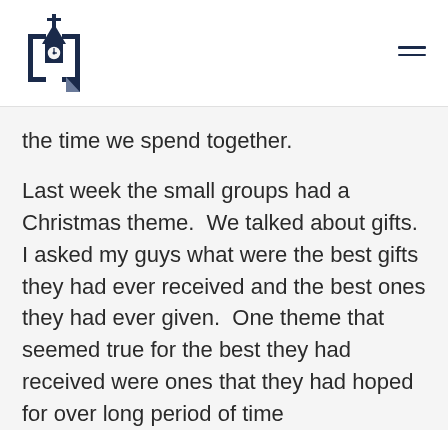[Figure (logo): Church/organization logo: a stylized bracket with a church steeple icon inside, dark navy blue color]
the time we spend together.
Last week the small groups had a Christmas theme.  We talked about gifts.  I asked my guys what were the best gifts they had ever received and the best ones they had ever given.  One theme that seemed true for the best they had received were ones that they had hoped for over long period of time